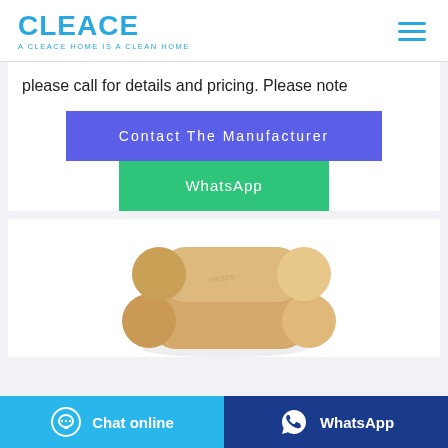[Figure (logo): CLEACE logo in blue with tagline 'A CLEACE HOME IS A CLEAN HOME']
please call for details and pricing. Please note
[Figure (other): Blue button: Contact The Manufacturer]
[Figure (other): Green button: WhatsApp]
[Figure (photo): Two brown/tan toilet paper rolls stacked, white background]
[Figure (other): Bottom bar with Chat online (light blue) and WhatsApp (dark blue) buttons]